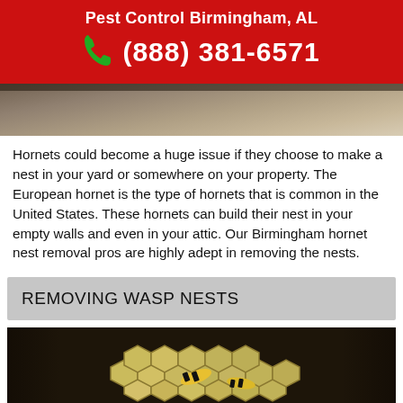Pest Control Birmingham, AL
(888) 381-6571
[Figure (photo): Partial photo of a building corner or wooden structure, top portion visible, brownish tones]
Hornets could become a huge issue if they choose to make a nest in your yard or somewhere on your property. The European hornet is the type of hornets that is common in the United States. These hornets can build their nest in your empty walls and even in your attic. Our Birmingham hornet nest removal pros are highly adept in removing the nests.
REMOVING WASP NESTS
[Figure (photo): Close-up photo of a wasp nest with honeycomb structure and yellow-black wasps on it, dark background]